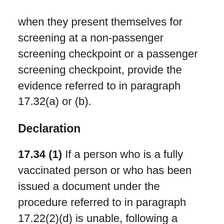when they present themselves for screening at a non-passenger screening checkpoint or a passenger screening checkpoint, provide the evidence referred to in paragraph 17.32(a) or (b).
Declaration
17.34 (1) If a person who is a fully vaccinated person or who has been issued a document under the procedure referred to in paragraph 17.22(2)(d) is unable, following a request to provide evidence under section 17.33, to provide the evidence, the person may